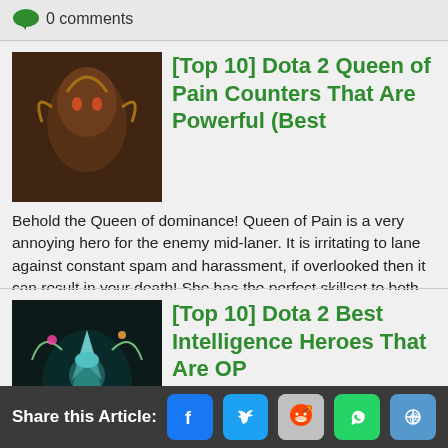0 comments
[Top 10] Dota 2 Queen of Pain Counters That Are Powerful (Best
[Figure (illustration): Dark fantasy game artwork showing Queen of Pain character]
Behold the Queen of dominance! Queen of Pain is a very annoying hero for the enemy mid-laner. It is irritating to lane against constant spam and harassment, if overlooked then it can result in your death! She has the perfect skillset to both harass and kills the enemy hero, her mobility makes her...
0 comments
[Top 10] Dota 2 Best Intelligence Heroes That Are OP
[Figure (illustration): Colorful magical game artwork showing an intelligence hero item or character]
Intelligence heroes are often the mages, the spell casters, the ones who rely on their mana to make plays! These heroes are considered to be frail and squishy but we are here to overthrow that misconception! The INT heroes are strong, resilient and
Share this Article: